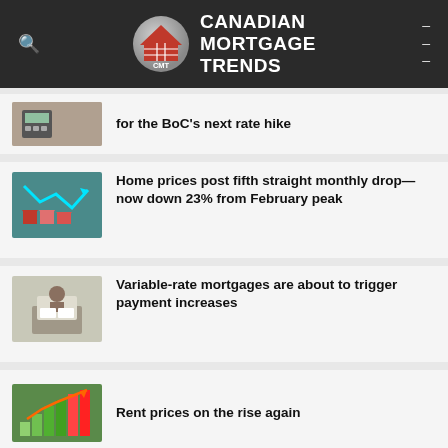Canadian Mortgage Trends
for the BoC's next rate hike
Home prices post fifth straight monthly drop—now down 23% from February peak
Variable-rate mortgages are about to trigger payment increases
Rent prices on the rise again
Bond yields plunge. What does it mean for fixed mortgage rates?